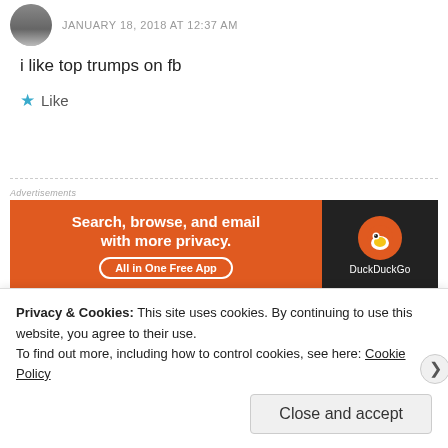JANUARY 18, 2018 AT 12:37 AM
i like top trumps on fb
★ Like
[Figure (other): DuckDuckGo advertisement banner: orange left panel with text 'Search, browse, and email with more privacy. All in One Free App' and dark right panel with DuckDuckGo logo]
REPORT THIS AD
Molli taylor says:
Privacy & Cookies: This site uses cookies. By continuing to use this website, you agree to their use.
To find out more, including how to control cookies, see here: Cookie Policy
Close and accept